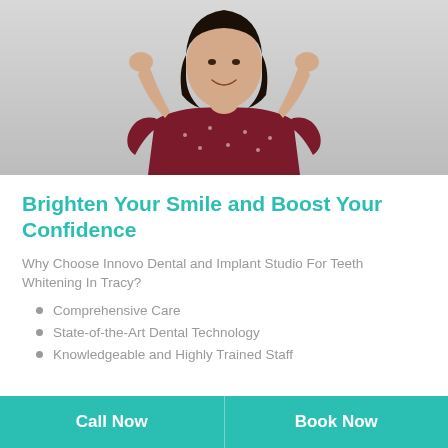[Figure (photo): Young Asian woman in a floral red dress with hands raised near her face, smiling, against a light gray background]
Brighten Your Smile and Boost Your Confidence
Why Choose Innovo Dental and Implant Studio For Teeth Whitening In Tracy?
Comprehensive Care
State-of-the-Art Dental Technology
Knowledgeable and Highly Trained Staff
Call Now
Book Now